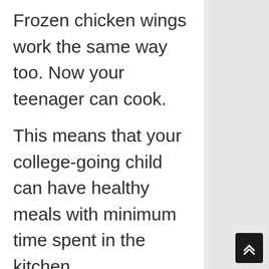Frozen chicken wings work the same way too. Now your teenager can cook.
This means that your college-going child can have healthy meals with minimum time spent in the kitchen.
It is very convenient if